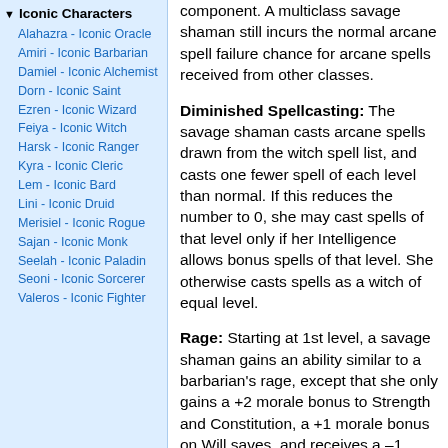Iconic Characters
Alahazra - Iconic Oracle
Amiri - Iconic Barbarian
Damiel - Iconic Alchemist
Dorn - Iconic Saint
Ezren - Iconic Wizard
Feiya - Iconic Witch
Harsk - Iconic Ranger
Kyra - Iconic Cleric
Lem - Iconic Bard
Lini - Iconic Druid
Merisiel - Iconic Rogue
Sajan - Iconic Monk
Seelah - Iconic Paladin
Seoni - Iconic Sorcerer
Valeros - Iconic Fighter
component. A multiclass savage shaman still incurs the normal arcane spell failure chance for arcane spells received from other classes.
Diminished Spellcasting: The savage shaman casts arcane spells drawn from the witch spell list, and casts one fewer spell of each level than normal. If this reduces the number to 0, she may cast spells of that level only if her Intelligence allows bonus spells of that level. She otherwise casts spells as a witch of equal level.
Rage: Starting at 1st level, a savage shaman gains an ability similar to a barbarian's rage, except that she only gains a +2 morale bonus to Strength and Constitution, a +1 morale bonus on Will saves, and receives a –1 penalty to AC. She